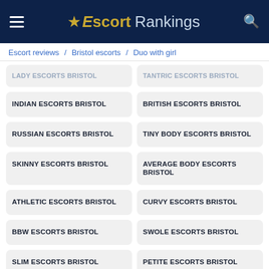☰ Escort Rankings 🔍
Escort reviews / Bristol escorts / Duo with girl
LADY ESCORTS BRISTOL
TANTRIC ESCORTS BRISTOL
INDIAN ESCORTS BRISTOL
BRITISH ESCORTS BRISTOL
RUSSIAN ESCORTS BRISTOL
TINY BODY ESCORTS BRISTOL
SKINNY ESCORTS BRISTOL
AVERAGE BODY ESCORTS BRISTOL
ATHLETIC ESCORTS BRISTOL
CURVY ESCORTS BRISTOL
BBW ESCORTS BRISTOL
SWOLE ESCORTS BRISTOL
SLIM ESCORTS BRISTOL
PETITE ESCORTS BRISTOL
BUSTY ESCORTS BRISTOL
BLONDE ESCORTS BRISTOL
BRUNETTE ESCORTS BRISTOL
BLACK-HAIR ESCORTS BRISTOL